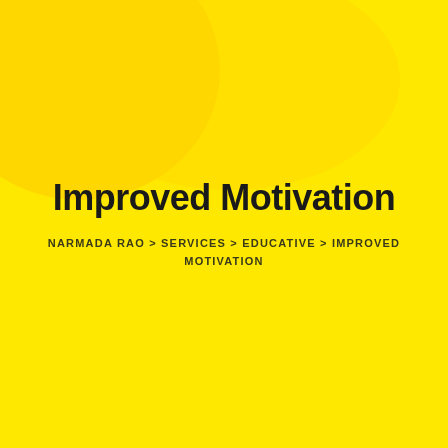Improved Motivation
NARMADA RAO > SERVICES > EDUCATIVE > IMPROVED MOTIVATION